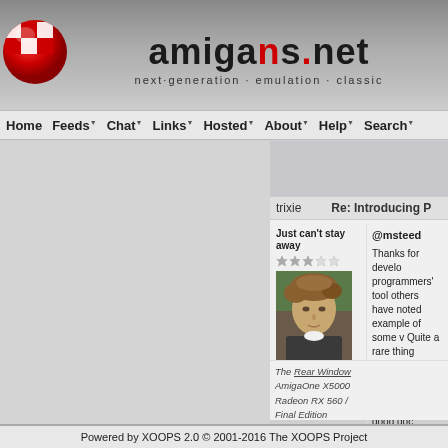[Figure (logo): amigans.net website logo with red/white checkered ball and site name with tagline 'next generation · emulation · classic']
Home  Feeds  Chat  Links  Hosted  About  Help  Search
trixie
Re: Introducing P
Just can't stay away
@msteed

Thanks for develo programmers' tool others have noted example of some v Quite a rare thing software is written developer usually write up good doc
The Rear Window

AmigaOne X5000
Radeon RX 560 /
Final Edition
Powered by XOOPS 2.0 © 2001-2016 The XOOPS Project